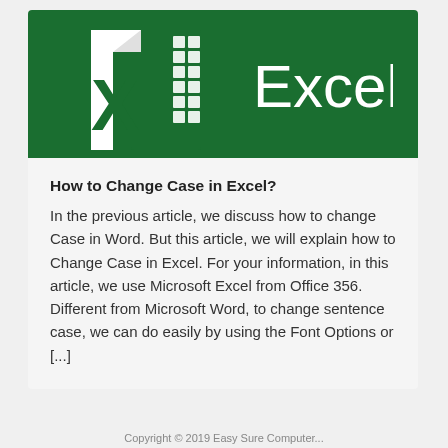[Figure (logo): Microsoft Excel logo: green background with white X icon and spreadsheet grid icon, and the word 'Excel' in white text on the right]
How to Change Case in Excel?
In the previous article, we discuss how to change Case in Word. But this article, we will explain how to Change Case in Excel. For your information, in this article, we use Microsoft Excel from Office 356. Different from Microsoft Word, to change sentence case, we can do easily by using the Font Options or [...]
Copyright © 2019 Easy Sure Computer...